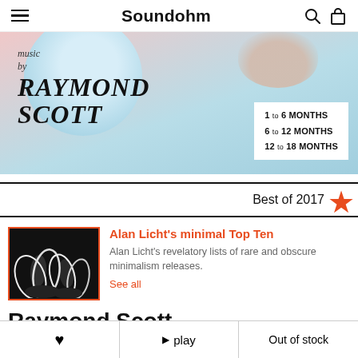Soundohm
[Figure (illustration): Promotional banner for Raymond Scott music album. Light blue and pink background with a circular blue element and a hand/figure. Text reads: music by RAYMOND SCOTT, 1 to 6 MONTHS, 6 to 12 MONTHS, 12 to 18 MONTHS]
Best of 2017
[Figure (photo): Black and white album cover thumbnail with abstract wave/smoke shapes]
Alan Licht's minimal Top Ten
Alan Licht's revelatory lists of rare and obscure minimalism releases.
See all
Raymond Scott